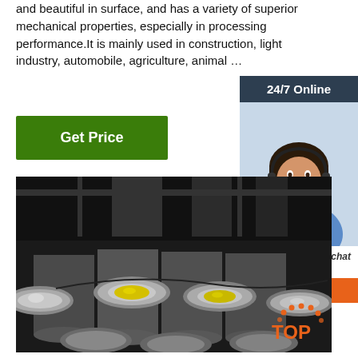and beautiful in surface, and has a variety of superior mechanical properties, especially in processing performance.It is mainly used in construction, light industry, automobile, agriculture, animal …
[Figure (other): Green 'Get Price' button]
[Figure (other): Sidebar with 24/7 Online label, customer service representative photo with headset, 'Click here for free chat!' text, and orange QUOTATION button]
[Figure (photo): Industrial warehouse photo showing stacked steel round bars/rods with yellow marked ends]
[Figure (logo): Orange TOP logo in bottom right]